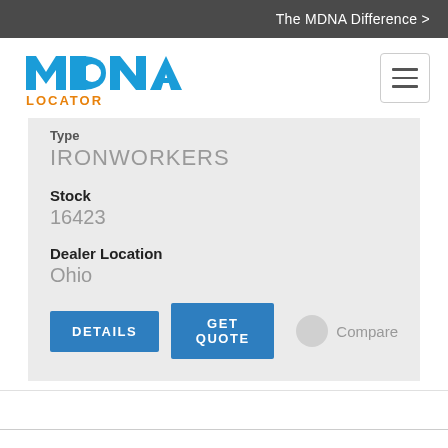The MDNA Difference >
[Figure (logo): MDNA Locator logo — blue stylized text MDNA with orange LOCATOR below]
Type
IRONWORKERS
Stock
16423
Dealer Location
Ohio
DETAILS  GET QUOTE  Compare